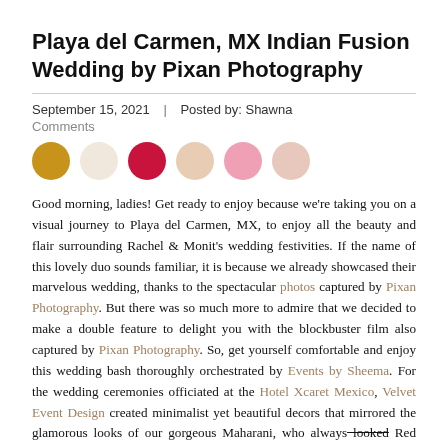Playa del Carmen, MX Indian Fusion Wedding by Pixan Photography
September 15, 2021  |  Posted by: Shawna
Comments
[Figure (infographic): Six colored circles in a row: golden yellow, pale cream, crimson red, pale peach, pink, light peach/pink]
Good morning, ladies! Get ready to enjoy because we're taking you on a visual journey to Playa del Carmen, MX, to enjoy all the beauty and flair surrounding Rachel & Monit's wedding festivities. If the name of this lovely duo sounds familiar, it is because we already showcased their marvelous wedding, thanks to the spectacular photos captured by Pixan Photography. But there was so much more to admire that we decided to make a double feature to delight you with the blockbuster film also captured by Pixan Photography. So, get yourself comfortable and enjoy this wedding bash thoroughly orchestrated by Events by Sheema. For the wedding ceremonies officiated at the Hotel Xcaret Mexico, Velvet Event Design created minimalist yet beautiful decors that mirrored the glamorous looks of our gorgeous Maharani, who always looked the…